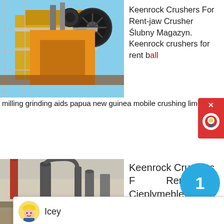[Figure (photo): Industrial jaw crusher machine with orange/yellow body, scaffolding and blue sky background]
Keenrock Crushers For Rent-jaw Crusher Ślubny Magazyn. Keenrock crushers for rent ball milling grinding aids papua new guinea mobile crushing limestone processing line pfw impact crusher for sale chrome
[Figure (screenshot): Chat popup from Liming Heavy Industry with avatar named Icey, message: Welcome to Liming Heavy Industry! Now our on-line service is chatting with you! Please choose the language :]
[Figure (photo): Industrial grinding/milling plant with tall cylindrical structures, conveyors and smokestacks]
Keenrock Crushers For Rent Cieplymeble.Pl
keenrock crushers for rent. Keenrock Crushers For Rent .